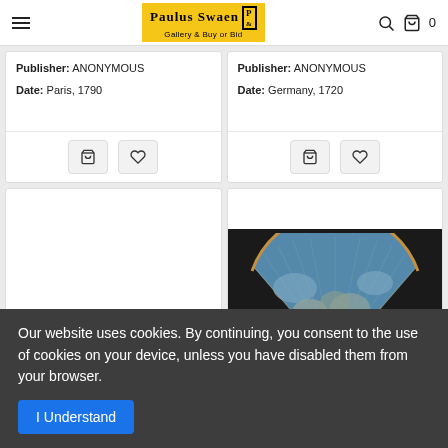Paulus Swaen Gallery & Buy or Bid
Publisher: ANONYMOUS
Date: Paris, 1790
Publisher: ANONYMOUS
Date: Germany, 1720
[Figure (photo): Empty card placeholder (left bottom)]
[Figure (photo): Decorative hand-held fan with painted scene of figures by water, shown against dark background]
Our website uses cookies. By continuing, you consent to the use of cookies on your device, unless you have disabled them from your browser.